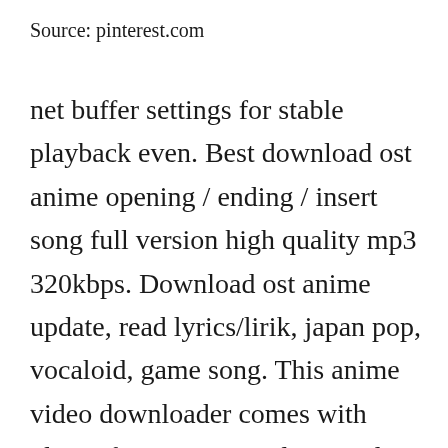Source: pinterest.com
net buffer settings for stable playback even. Best download ost anime opening / ending / insert song full version high quality mp3 320kbps. Download ost anime update, read lyrics/lirik, japan pop, vocaloid, game song. This anime video downloader comes with plugin for internet explorer and mozilla firefox. This software enables you to quickly download anime videos in up to 4k video formats.